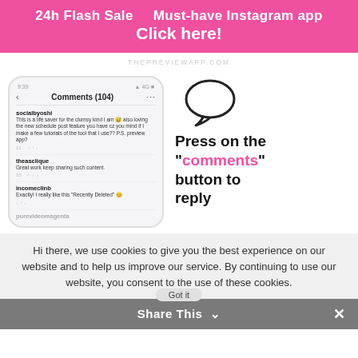24h Flash Sale   Must-have Instagram app
Click here!
THEPREVIEWAPP.COM
[Figure (screenshot): Phone mockup showing Instagram Comments screen with comments from socialbyoshi, theasclique, and incomeclinb]
Press on the "comments" button to reply
Hi there, we use cookies to give you the best experience on our website and to help us improve our service. By continuing to use our website, you consent to the use of these cookies.
Got it
Share This ∨  ✕